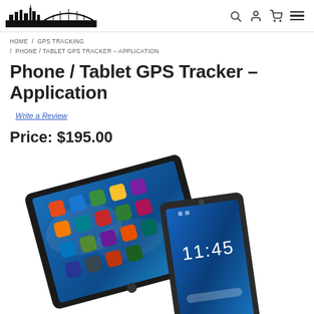Spy City logo and navigation icons (search, account, cart, menu)
HOME / GPS TRACKING / PHONE / TABLET GPS TRACKER – APPLICATION
Phone / Tablet GPS Tracker – Application
Write a Review
Price: $195.00
[Figure (photo): Two mobile devices — a tablet and a smartphone — displayed at an angle showing colorful app icons on their screens. The smartphone shows a lock screen with time 11:45.]